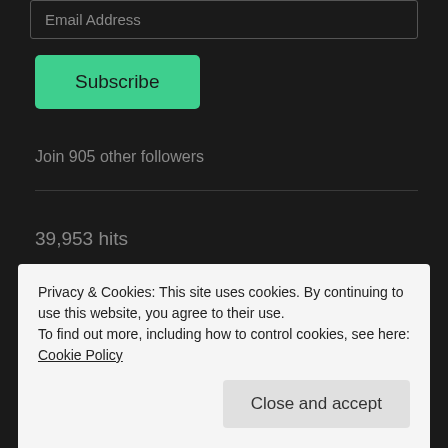Email Address
Subscribe
Join 905 other followers
39,953 hits
My Tweets
Privacy & Cookies: This site uses cookies. By continuing to use this website, you agree to their use.
To find out more, including how to control cookies, see here: Cookie Policy
Close and accept